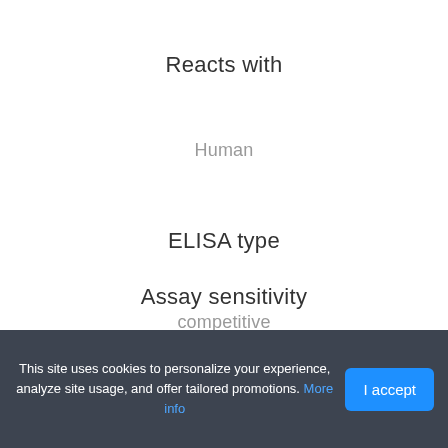Reacts with
Human
ELISA type
competitive
Assay sensitivity
0.1mg per L
Detection range
2.5–50mg per L
This site uses cookies to personalize your experience, analyze site usage, and offer tailored promotions. More info